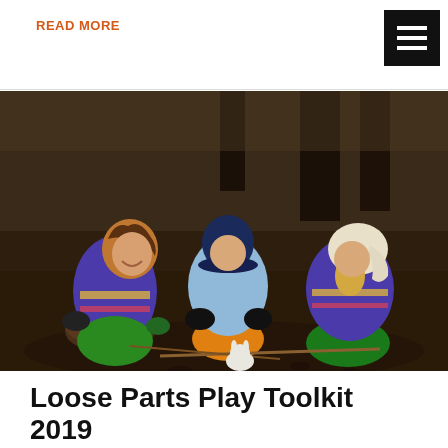READ MORE
[Figure (photo): Three young children in colorful outdoor gear (purple striped jackets, hats, green pants) playing in muddy dirt in a woodland setting, arranging sticks and a small toy animal on the ground.]
Loose Parts Play Toolkit 2019